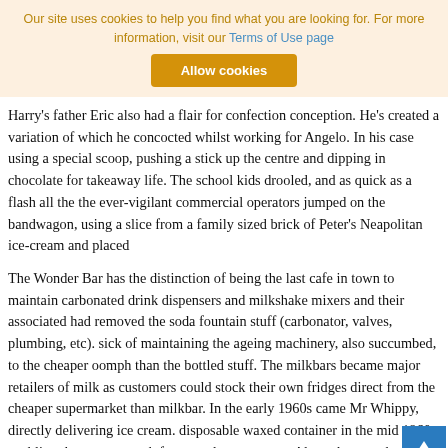Our site uses cookies to help you find what you are looking for. For more information, visit our Terms of Use page
Harry's father Eric also had a flair for confection conception. He's created a variation of which he concocted whilst working for Angelo. In his case using a special scoop, pushing a stick up the centre and dipping in chocolate for takeaway life. The school kids drooled, and as quick as a flash all the ever-vigilant commercial operators jumped on the bandwagon, using a slice from a family sized brick of Peter's Neapolitan ice-cream and placed
The Wonder Bar has the distinction of being the last cafe in town to maintain carbonated drink dispensers and milkshake mixers and their associated paraphernalia had removed the soda fountain stuff (carbonator, valves, plumbing, etc). sick of maintaining the ageing machinery, also succumbed, to the cheaper oomph than the bottled stuff. The milkbars became major retailers of milk as customers could stock their own fridges direct from the cheaper supermarket than milkbar. In the early 1960s came Mr Whippy, directly delivering ice cream. The disposable waxed container in the mid 1960s, enabling the patron to ask for a sundae accessory. Along the way the ubiquitous free-standing soft drink and other 'bolt-on' mod cons eventually cluttered the places beyond recognition.
As for showmanship, Harry had no equal, the word charrysma being